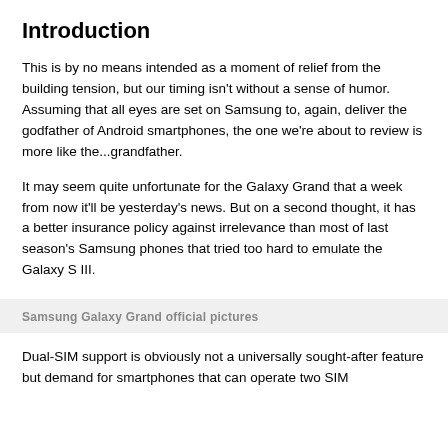Introduction
This is by no means intended as a moment of relief from the building tension, but our timing isn't without a sense of humor. Assuming that all eyes are set on Samsung to, again, deliver the godfather of Android smartphones, the one we're about to review is more like the...grandfather.
It may seem quite unfortunate for the Galaxy Grand that a week from now it'll be yesterday's news. But on a second thought, it has a better insurance policy against irrelevance than most of last season's Samsung phones that tried too hard to emulate the Galaxy S III.
Samsung Galaxy Grand official pictures
Dual-SIM support is obviously not a universally sought-after feature but demand for smartphones that can operate two SIM